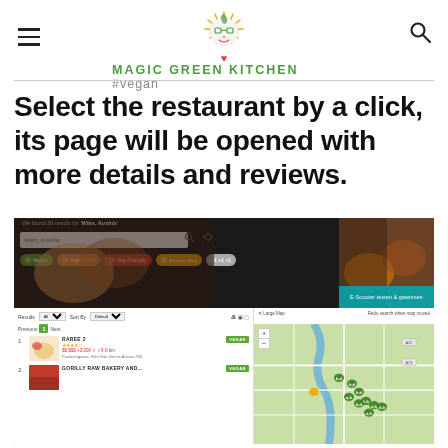Magic Green Kitchen #vegan — website header with logo, hamburger menu, and search icon
Select the restaurant by a click, its page will be opened with more details and reviews.
[Figure (screenshot): Screenshot of a restaurant search website (Happy Cow or similar) showing search results for Wien, Austria with filter pills (Vegan, Vegetarian, Veg-Friendly, Gluten-Free), a map on the right with green markers, and a list of results including RAREE and GORILLY RAW BAKERY AND, with pagination controls.]